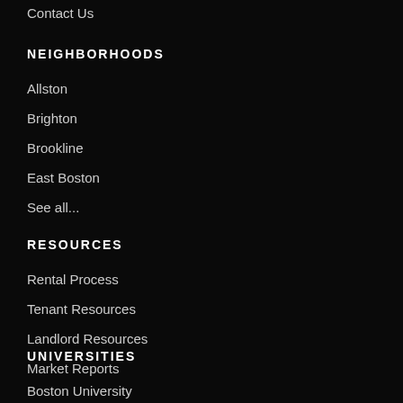Contact Us
NEIGHBORHOODS
Allston
Brighton
Brookline
East Boston
See all...
RESOURCES
Rental Process
Tenant Resources
Landlord Resources
Market Reports
See all...
UNIVERSITIES
Boston University